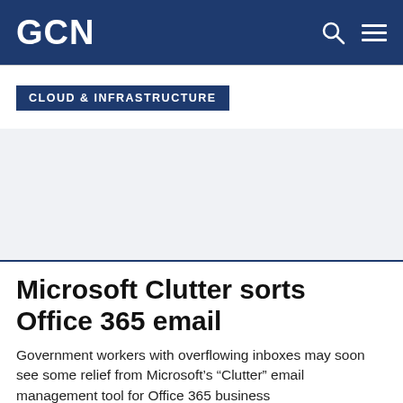GCN
CLOUD & INFRASTRUCTURE
Microsoft Clutter sorts Office 365 email
Government workers with overflowing inboxes may soon see some relief from Microsoft’s “Clutter” email management tool for Office 365 business